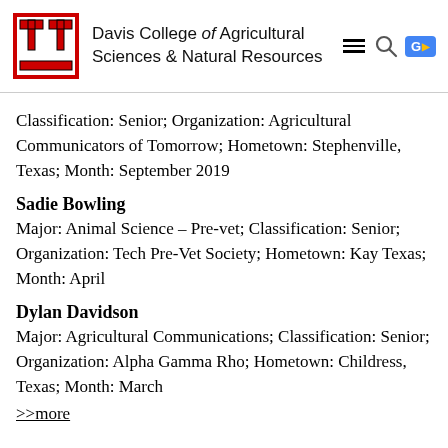Davis College of Agricultural Sciences & Natural Resources
Classification: Senior; Organization: Agricultural Communicators of Tomorrow; Hometown: Stephenville, Texas; Month: September 2019
Sadie Bowling
Major: Animal Science – Pre-vet; Classification: Senior; Organization: Tech Pre-Vet Society; Hometown: Kay Texas; Month: April
Dylan Davidson
Major: Agricultural Communications; Classification: Senior; Organization: Alpha Gamma Rho; Hometown: Childress, Texas; Month: March
>>more